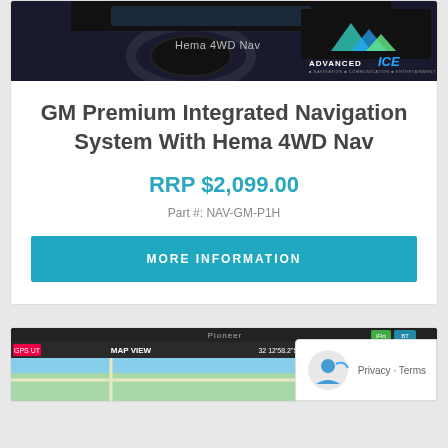[Figure (photo): Car interior dashboard photo with 'Hema 4WD Nav' text and Advanced ICE logo in top right corner]
GM Premium Integrated Navigation System With Hema 4WD Nav
RRP $2,099.00
Part #: NAV-GM-P1H
MORE INFORMATION
[Figure (screenshot): Pioneer navigation unit showing MAP VIEW screen with GPS coordinates 32 12'58.2"S 115 44'15.2"E and map display]